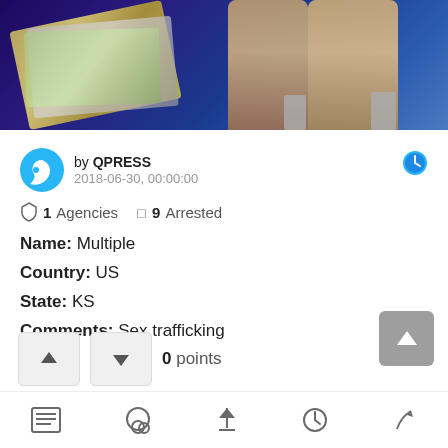[Figure (photo): Header image showing cash/dollar bills on left and legs with high heels on right, dark blue background, suggesting sex trafficking theme]
by QPRESS
2018-06-30, 00:00:00
1 Agencies   9 Arrested
Name: Multiple
Country: US
State: KS
Comments: Sex trafficking
More
0 points